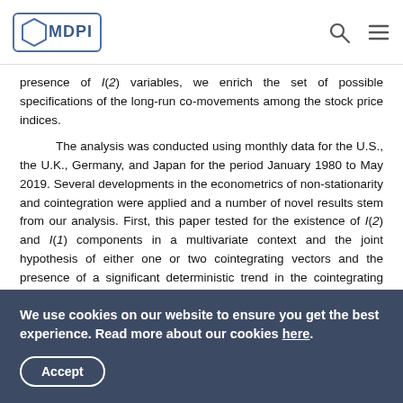MDPI
presence of I(2) variables, we enrich the set of possible specifications of the long-run co-movements among the stock price indices.
The analysis was conducted using monthly data for the U.S., the U.K., Germany, and Japan for the period January 1980 to May 2019. Several developments in the econometrics of non-stationarity and cointegration were applied and a number of novel results stem from our analysis. First, this paper tested for the existence of I(2) and I(1) components in a multivariate context and the joint hypothesis of either one or two cointegrating vectors and the presence of a significant deterministic trend in the cointegrating vector could not be
We use cookies on our website to ensure you get the best experience. Read more about our cookies here.